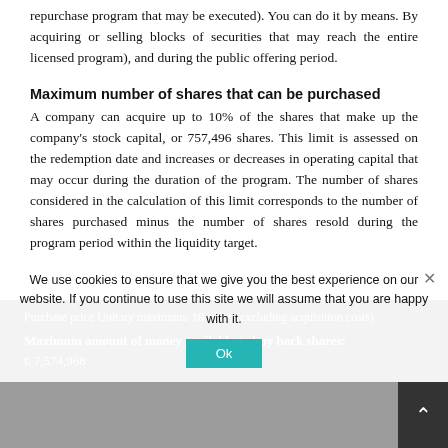repurchase program that may be executed). You can do it by means. By acquiring or selling blocks of securities that may reach the entire licensed program), and during the public offering period.
Maximum number of shares that can be purchased
A company can acquire up to 10% of the shares that make up the company's stock capital, or 757,496 shares. This limit is assessed on the redemption date and increases or decreases in operating capital that may occur during the duration of the program. The number of shares considered in the calculation of this limit corresponds to the number of shares purchased minus the number of shares resold during the program period within the liquidity target.
Purchase price Unitary maximum: 10 euros (excluding acquisition costs)
Maximum amount of money available to buy back shares:
€ 7,574,968
We use cookies to ensure that we give you the best experience on our website. If you continue to use this site we will assume that you are happy with it.